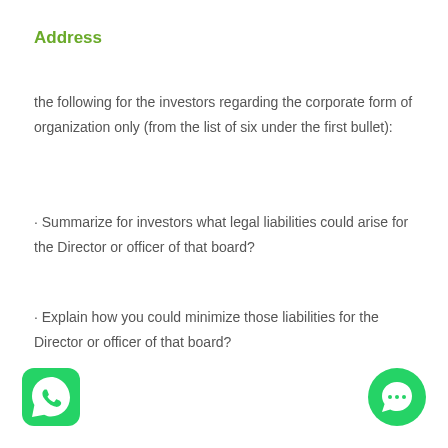Address
the following for the investors regarding the corporate form of organization only (from the list of six under the first bullet):
· Summarize for investors what legal liabilities could arise for the Director or officer of that board?
· Explain how you could minimize those liabilities for the Director or officer of that board?
[Figure (logo): WhatsApp logo icon — green rounded square with white phone in speech bubble]
[Figure (logo): Green circle chat bubble icon]